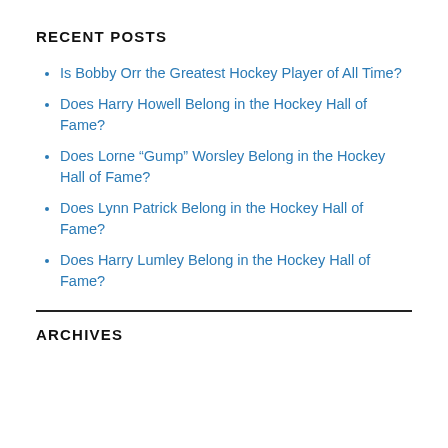RECENT POSTS
Is Bobby Orr the Greatest Hockey Player of All Time?
Does Harry Howell Belong in the Hockey Hall of Fame?
Does Lorne “Gump” Worsley Belong in the Hockey Hall of Fame?
Does Lynn Patrick Belong in the Hockey Hall of Fame?
Does Harry Lumley Belong in the Hockey Hall of Fame?
ARCHIVES